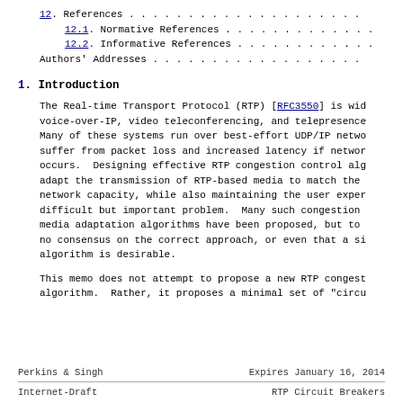12. References . . . . . . . . . . . . . . . . . . .
12.1. Normative References . . . . . . . . . . . . .
12.2. Informative References . . . . . . . . . . . .
Authors' Addresses . . . . . . . . . . . . . . . . .
1.  Introduction
The Real-time Transport Protocol (RTP) [RFC3550] is wid voice-over-IP, video teleconferencing, and telepresence Many of these systems run over best-effort UDP/IP netwo suffer from packet loss and increased latency if networ occurs.  Designing effective RTP congestion control alg adapt the transmission of RTP-based media to match the network capacity, while also maintaining the user exper difficult but important problem.  Many such congestion media adaptation algorithms have been proposed, but to no consensus on the correct approach, or even that a si algorithm is desirable.
This memo does not attempt to propose a new RTP congest algorithm.  Rather, it proposes a minimal set of "circu
Perkins & Singh          Expires January 16, 2014
Internet-Draft                    RTP Circuit Breakers